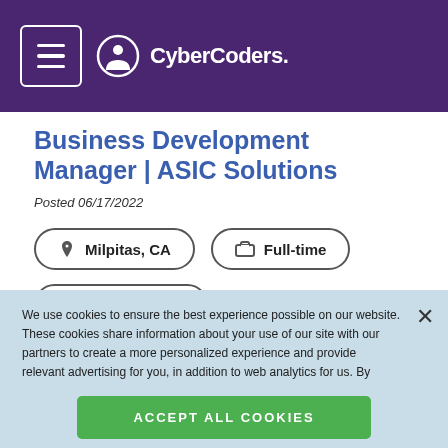CyberCoders.
Business Development Manager | ASIC Solutions
Posted 06/17/2022
Milpitas, CA
Full-time
$170k - $200k
We use cookies to ensure the best experience possible on our website. These cookies share information about your use of our site with our partners to create a more personalized experience and provide relevant advertising for you, in addition to web analytics for us. By clicking "Accept" or continuing to navigate our site, you agree to our use of cookies. For more information please see our Privacy Policy
Accept All Cookies